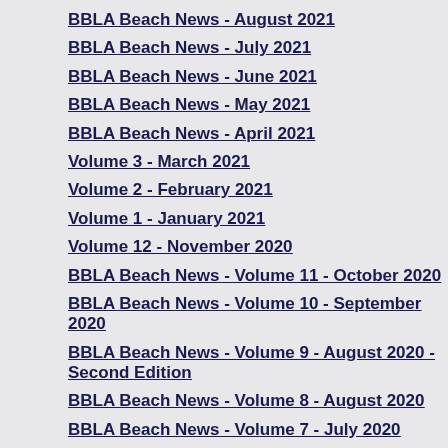BBLA Beach News - August 2021
BBLA Beach News - July 2021
BBLA Beach News - June 2021
BBLA Beach News - May 2021
BBLA Beach News - April 2021
Volume 3 - March 2021
Volume 2 - February 2021
Volume 1 - January 2021
Volume 12 - November 2020
BBLA Beach News - Volume 11 - October 2020
BBLA Beach News - Volume 10 - September 2020
BBLA Beach News - Volume 9 - August 2020 - Second Edition
BBLA Beach News - Volume 8 - August 2020
BBLA Beach News - Volume 7 - July 2020